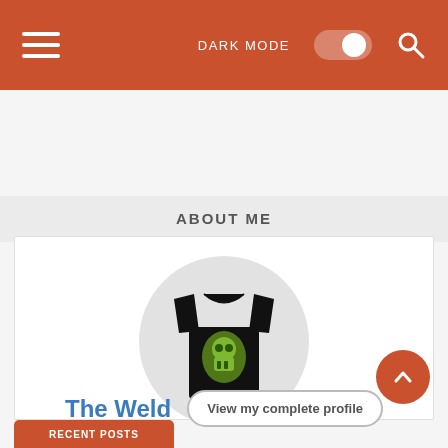DARK MODE [toggle] [search]
ABOUT ME
[Figure (photo): Circular profile avatar showing a black t-shirt with a green skull graphic design on it]
The Weld
View my complete profile
RECENT POSTS (partial, cut off)